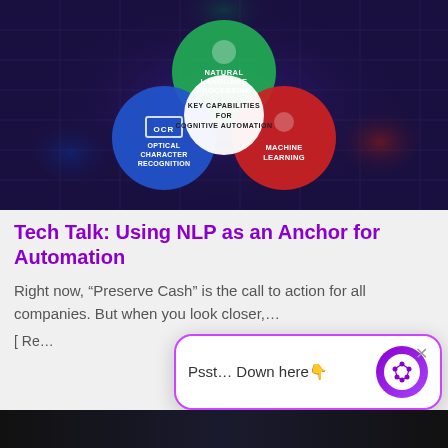[Figure (infographic): Venn diagram showing Key Capabilities for Cognitive Automation: three overlapping circles — green (Natural Language Processing, top), blue (OCR - Optical Character Recognition, left), red (Machine Learning, right) — on a dark purple/space background]
Tech Talk: Using NLP as an Anchor for Automation
Right now, “Preserve Cash” is the call to action for all companies. But when you look closer,...
[ Re...
[Figure (screenshot): Chat widget popup: white rounded rectangle with purple border showing 'Psst... Down here👆' text and purple circular icon with AI/voice graphic, with X close button]
[Figure (photo): Dark image strip at bottom of page]